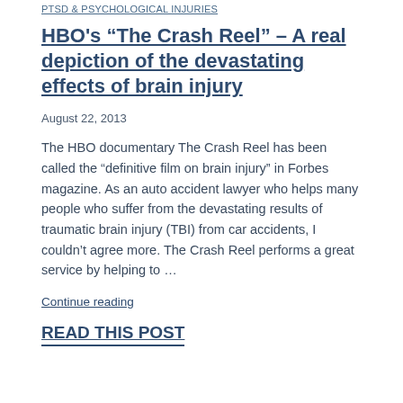PTSD & PSYCHOLOGICAL INJURIES
HBO's “The Crash Reel” – A real depiction of the devastating effects of brain injury
August 22, 2013
The HBO documentary The Crash Reel has been called the “definitive film on brain injury” in Forbes magazine. As an auto accident lawyer who helps many people who suffer from the devastating results of traumatic brain injury (TBI) from car accidents, I couldn’t agree more. The Crash Reel performs a great service by helping to …
Continue reading
READ THIS POST